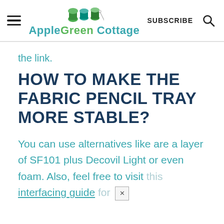AppleGreen Cottage — SUBSCRIBE
the link.
HOW TO MAKE THE FABRIC PENCIL TRAY MORE STABLE?
You can use alternatives like are a layer of SF101 plus Decovil Light or even foam. Also, feel free to visit this interfacing guide for